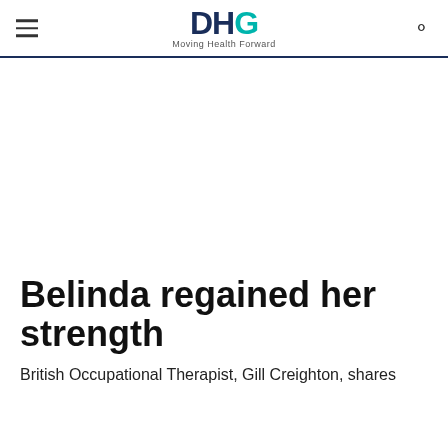DHG Moving Health Forward
Belinda regained her strength
British Occupational Therapist, Gill Creighton, shares